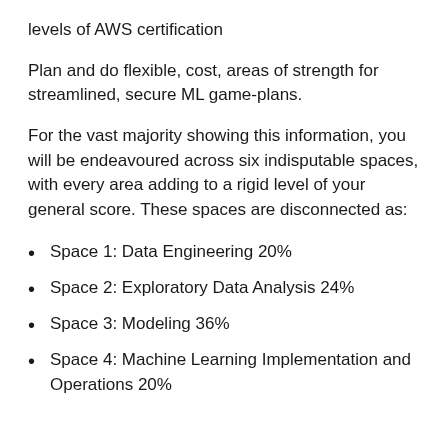levels of AWS certification
Plan and do flexible, cost, areas of strength for streamlined, secure ML game-plans.
For the vast majority showing this information, you will be endeavoured across six indisputable spaces, with every area adding to a rigid level of your general score. These spaces are disconnected as:
Space 1: Data Engineering 20%
Space 2: Exploratory Data Analysis 24%
Space 3: Modeling 36%
Space 4: Machine Learning Implementation and Operations 20%